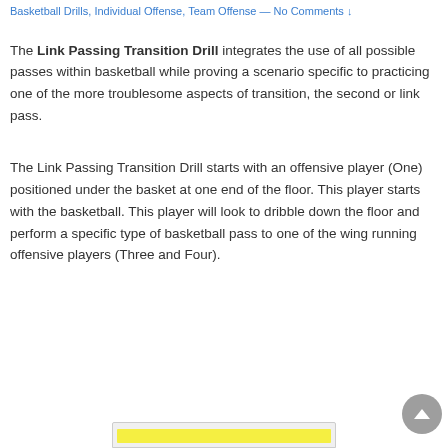Basketball Drills, Individual Offense, Team Offense — No Comments ↓
The Link Passing Transition Drill integrates the use of all possible passes within basketball while proving a scenario specific to practicing one of the more troublesome aspects of transition, the second or link pass.
The Link Passing Transition Drill starts with an offensive player (One) positioned under the basket at one end of the floor. This player starts with the basketball. This player will look to dribble down the floor and perform a specific type of basketball pass to one of the wing running offensive players (Three and Four).
[Figure (illustration): Bottom portion of an illustration with a yellow-highlighted area at the bottom of the page]